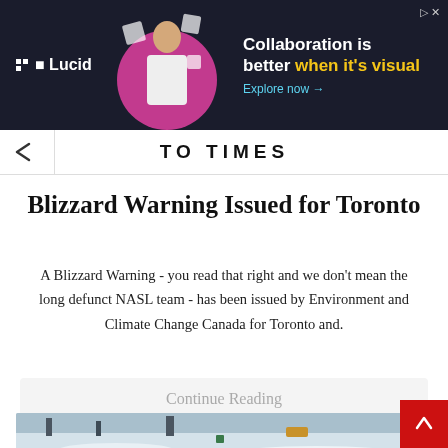[Figure (screenshot): Advertisement banner for Lucid with dark navy background, showing a woman looking at geometric shapes, with text 'Collaboration is better when it's visual. Explore now →']
TO TIMES
Blizzard Warning Issued for Toronto
A Blizzard Warning - you read that right and we don't mean the long defunct NASL team - has been issued by Environment and Climate Change Canada for Toronto and.
Continue Reading
[Figure (photo): Snow-covered residential street with a tractor/vehicle clearing snow, houses in background, snowy winter scene]